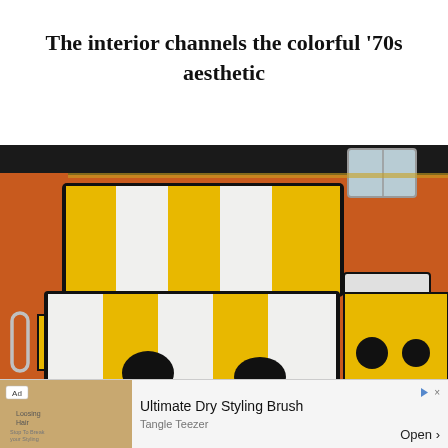The interior channels the colorful '70s aesthetic
[Figure (photo): Interior of a vintage VW bus or camper van showing yellow and white striped bench seat with black trim, orange walls, black circular floor detailing, and a chrome handle on the left wall]
Ad  Ultimate Dry Styling Brush  Tangle Teezer  Open >